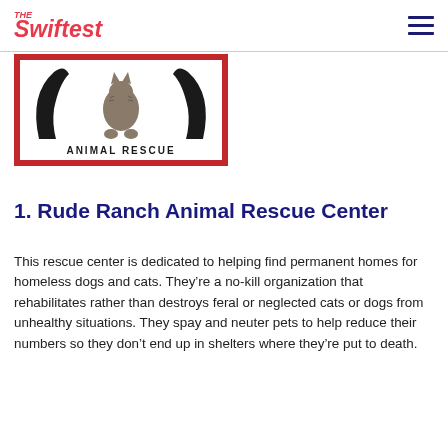The Swiftest
[Figure (logo): Animal Rescue logo with stylized cat silhouette and text 'ANIMAL RESCUE' on red-bordered white background]
1. Rude Ranch Animal Rescue Center
This rescue center is dedicated to helping find permanent homes for homeless dogs and cats. They’re a no-kill organization that rehabilitates rather than destroys feral or neglected cats or dogs from unhealthy situations. They spay and neuter pets to help reduce their numbers so they don’t end up in shelters where they’re put to death.